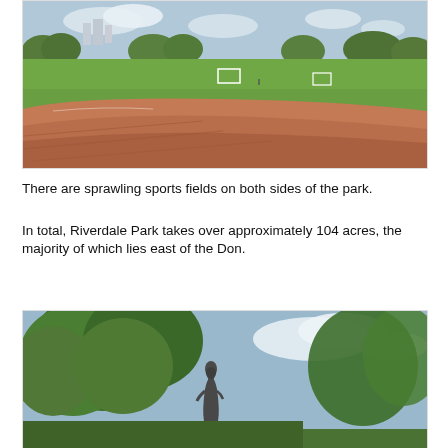[Figure (photo): A sports field with red clay/dirt infield in the foreground, green grass field with soccer goals in the background, trees and buildings on the horizon under a cloudy sky.]
There are sprawling sports fields on both sides of the park.
In total, Riverdale Park takes over approximately 104 acres, the majority of which lies east of the Don.
[Figure (photo): A bronze statue of a robed figure standing in a park surrounded by large green leafy trees with a partly cloudy sky in the background.]